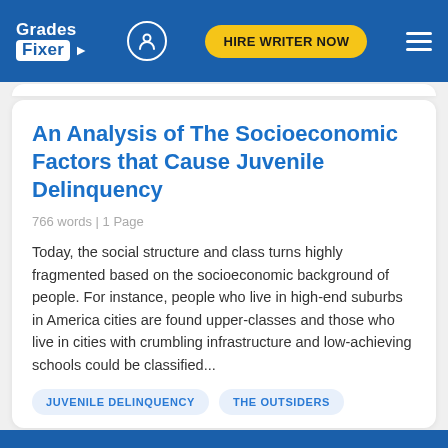Grades Fixer | HIRE WRITER NOW
An Analysis of The Socioeconomic Factors that Cause Juvenile Delinquency
766 words | 1 Page
Today, the social structure and class turns highly fragmented based on the socioeconomic background of people. For instance, people who live in high-end suburbs in America cities are found upper-classes and those who live in cities with crumbling infrastructure and low-achieving schools could be classified...
JUVENILE DELINQUENCY
THE OUTSIDERS